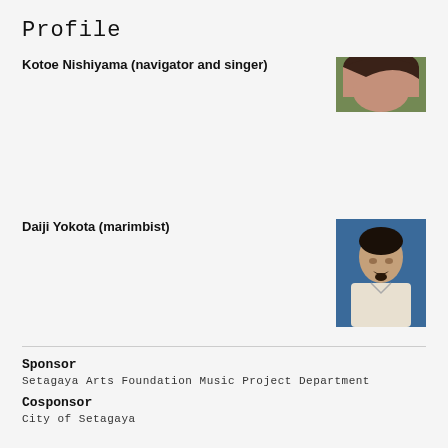Profile
Kotoe Nishiyama (navigator and singer)
[Figure (photo): Photo of Kotoe Nishiyama, partially visible, showing hair and part of face, outdoors background]
Daiji Yokota (marimbist)
[Figure (photo): Photo of Daiji Yokota, a man with mustache and goatee wearing a white shirt, blue background]
Sponsor
Setagaya Arts Foundation Music Project Department
Cosponsor
City of Setagaya